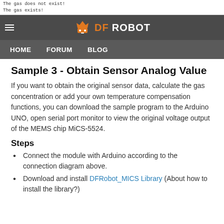The gas does not exist!
The gas exists!
The...
DFRobot - HOME FORUM BLOG
Sample 3 - Obtain Sensor Analog Value
If you want to obtain the original sensor data, calculate the gas concentration or add your own temperature compensation functions, you can download the sample program to the Arduino UNO, open serial port monitor to view the original voltage output of the MEMS chip MiCS-5524.
Steps
Connect the module with Arduino according to the connection diagram above.
Download and install DFRobot_MICS Library (About how to install the library?)